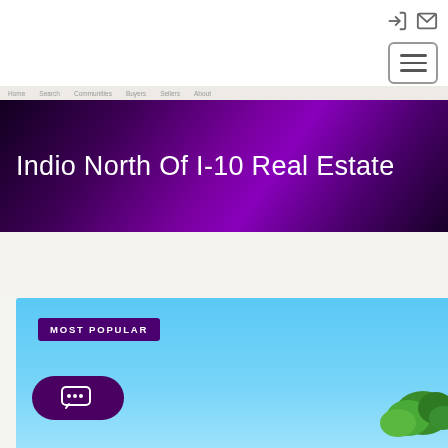Navigation icons and hamburger menu
Indio North Of I-10 Real Estate
[Figure (photo): Real estate listing photo showing a blue sky with trees at the bottom right, with a 'MOST POPULAR' badge overlay]
MOST POPULAR